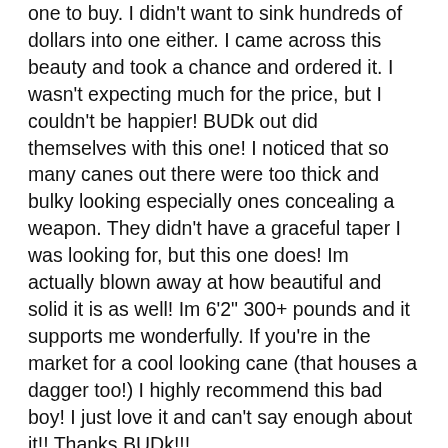one to buy. I didn't want to sink hundreds of dollars into one either. I came across this beauty and took a chance and ordered it. I wasn't expecting much for the price, but I couldn't be happier! BUDk out did themselves with this one! I noticed that so many canes out there were too thick and bulky looking especially ones concealing a weapon. They didn't have a graceful taper I was looking for, but this one does! Im actually blown away at how beautiful and solid it is as well! Im 6'2" 300+ pounds and it supports me wonderfully. If you're in the market for a cool looking cane (that houses a dagger too!) I highly recommend this bad boy! I just love it and can't say enough about it!! Thanks BUDk!!!